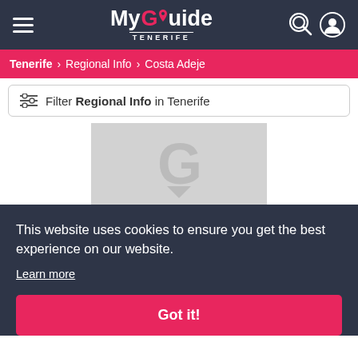My Guide TENERIFE
Tenerife > Regional Info > Costa Adeje
Filter Regional Info in Tenerife
[Figure (logo): MyGuide placeholder image with G pin logo in gray]
25TH 2022
This website uses cookies to ensure you get the best experience on our website.
Learn more
Got it!